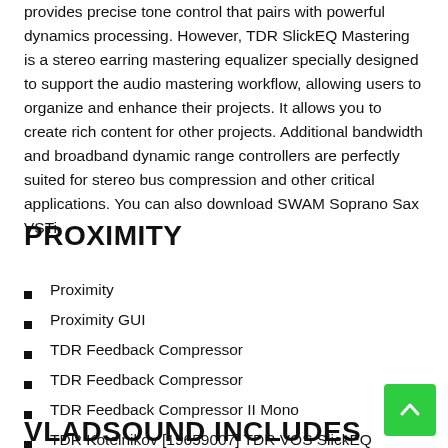provides precise tone control that pairs with powerful dynamics processing. However, TDR SlickEQ Mastering is a stereo earring mastering equalizer specially designed to support the audio mastering workflow, allowing users to organize and enhance their projects. It allows you to create rich content for other projects. Additional bandwidth and broadband dynamic range controllers are perfectly suited for stereo bus compression and other critical applications. You can also download SWAM Soprano Sax VSTi
PROXIMITY
Proximity
Proximity GUI
TDR Feedback Compressor
TDR Feedback Compressor
TDR Feedback Compressor II Mono
TDR Kotelnikov [19659007] TDR VOS SlickEQ
VLADSOUND INCLUDES